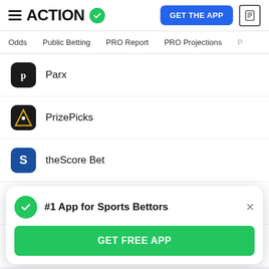ACTION (logo with checkmark) | GET THE APP | news icon
Odds  Public Betting  PRO Report  PRO Projections
Parx
PrizePicks
theScore Bet
Unibet
Betway
#1 App for Sports Bettors
GET FREE APP